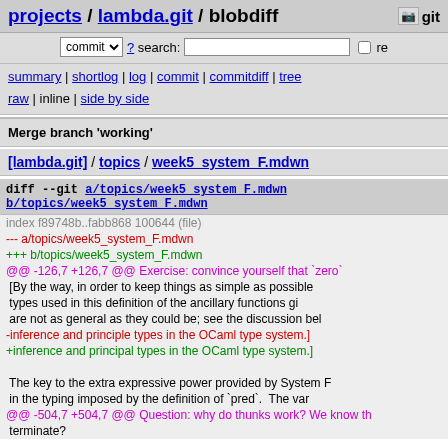projects / lambda.git / blobdiff   git
commit ▼ ? search:  □ re
summary | shortlog | log | commit | commitdiff | tree
raw | inline | side by side
Merge branch 'working'
[lambda.git] / topics / week5_system_F.mdwn
diff --git a/topics/week5_system_F.mdwn b/topics/week5_system_F.mdwn
index f89748b..fabb868 100644 (file)
--- a/topics/week5_system_F.mdwn
+++ b/topics/week5_system_F.mdwn
@@ -126,7 +126,7 @@ Exercise: convince yourself that `zero`
 [By the way, in order to keep things as simple as possible
 types used in this definition of the ancillary functions gi
 are not as general as they could be; see the discussion bel
-inference and principle types in the OCaml type system.]
+inference and principal types in the OCaml type system.]

 The key to the extra expressive power provided by System F
 in the typing imposed by the definition of `pred`.  The var
@@ -504,7 +504,7 @@ Question: why do thunks work? We know th
 terminate?